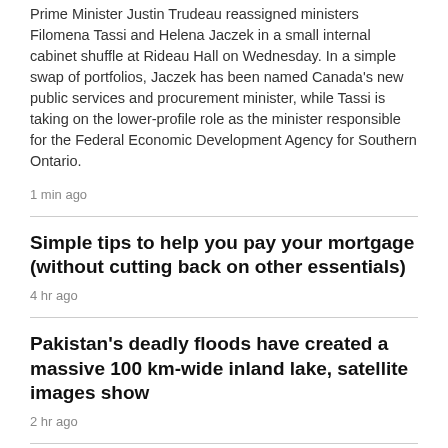Prime Minister Justin Trudeau reassigned ministers Filomena Tassi and Helena Jaczek in a small internal cabinet shuffle at Rideau Hall on Wednesday. In a simple swap of portfolios, Jaczek has been named Canada's new public services and procurement minister, while Tassi is taking on the lower-profile role as the minister responsible for the Federal Economic Development Agency for Southern Ontario.
1 min ago
Simple tips to help you pay your mortgage (without cutting back on other essentials)
4 hr ago
Pakistan's deadly floods have created a massive 100 km-wide inland lake, satellite images show
2 hr ago
Mourners mark Princess Diana's death in Paris